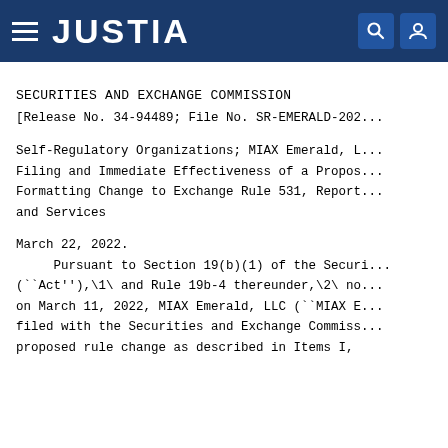JUSTIA
SECURITIES AND EXCHANGE COMMISSION
[Release No. 34-94489; File No. SR-EMERALD-202...
Self-Regulatory Organizations; MIAX Emerald, L... Filing and Immediate Effectiveness of a Propos... Formatting Change to Exchange Rule 531, Report... and Services
March 22, 2022.
Pursuant to Section 19(b)(1) of the Securi... (``Act''),\1\ and Rule 19b-4 thereunder,\2\ no... on March 11, 2022, MIAX Emerald, LLC (``MIAX E... filed with the Securities and Exchange Commiss... proposed rule change as described in Items I,